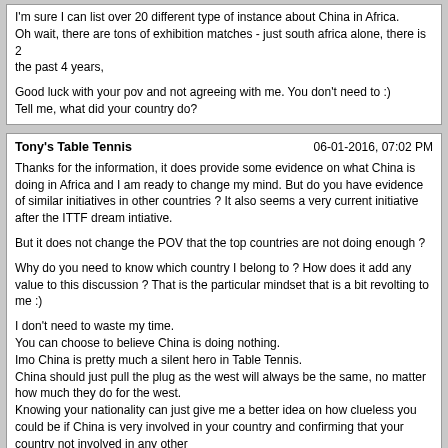I'm sure I can list over 20 different type of instance about China in Africa. Oh wait, there are tons of exhibition matches - just south africa alone, there is 2 the past 4 years,

Good luck with your pov and not agreeing with me. You don't need to :)
Tell me, what did your country do?
Tony's Table Tennis   06-01-2016, 07:02 PM
Thanks for the information, it does provide some evidence on what China is doing in Africa and I am ready to change my mind. But do you have evidence of similar initiatives in other countries ? It also seems a very current initiative after the ITTF dream intiative.

But it does not change the POV that the top countries are not doing enough ?

Why do you need to know which country I belong to ? How does it add any value to this discussion ? That is the particular mindset that is a bit revolting to me :)

I don't need to waste my time.
You can choose to believe China is doing nothing.
Imo China is pretty much a silent hero in Table Tennis.
China should just pull the plug as the west will always be the same, no matter how much they do for the west.
Knowing your nationality can just give me a better idea on how clueless you could be if China is very involved in your country and confirming that your country not involved in any other

Go and google Chinese training centres in the world, I think 3 or 4 should come up and soon be in action
Powered by vBulletin® Version 4.2.5 Copyright © 2022 vBulletin Solutions Inc. All rights reserved.